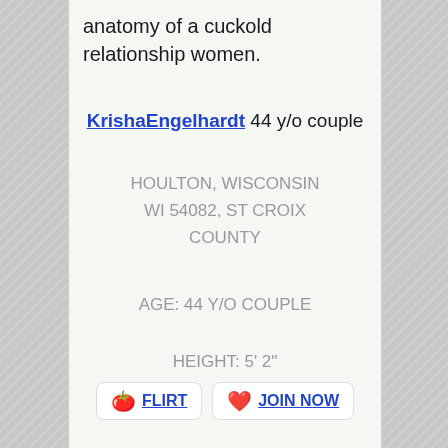anatomy of a cuckold relationship women.
KrishaEngelhardt 44 y/o couple
HOULTON, WISCONSIN WI 54082, ST CROIX COUNTY
AGE: 44 Y/O COUPLE
HEIGHT: 5' 2"
FLIRT   JOIN NOW